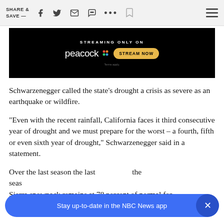SHARE & SAVE —
[Figure (screenshot): Peacock streaming advertisement banner: black background with 'STREAMING ONLY ON' text, Peacock logo with colored dots, and yellow 'STREAM NOW' button. Terms apply.]
Schwarzenegger called the state's drought a crisis as severe as an earthquake or wildfire.
"Even with the recent rainfall, California faces it third consecutive year of drought and we must prepare for the worst – a fourth, fifth or even sixth year of drought," Schwarzenegger said in a statement.
Over the last season the last state is...the seas... Sierra snowpack remains at 78 percent of normal for
[Figure (screenshot): NBC News app notification banner: blue pill-shaped banner reading 'Stay up-to-date in the NBC News app' with an X close button on the right.]